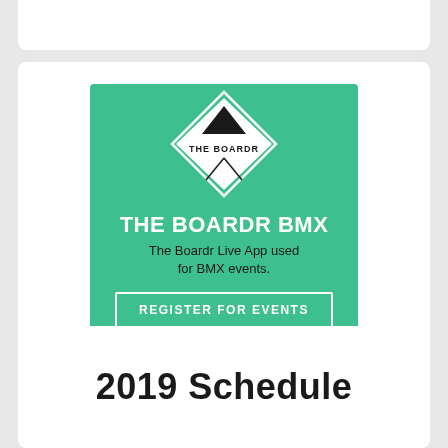[Figure (logo): The Boardr BMX app advertisement card. Green background with diamond logo containing 'THE BOARDR' text, bold white title 'THE BOARDR BMX', subtitle 'The Boardr Live App used for BMX events.', and a white-bordered button 'REGISTER FOR EVENTS'.]
2019 Schedule